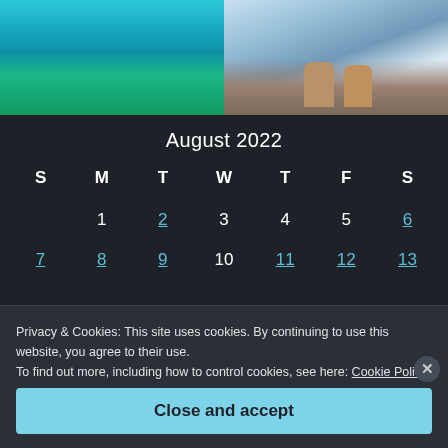[Figure (photo): Aerial view of tropical beach with turquoise water and palm trees (left photo)]
[Figure (photo): Mountain hikers with backpacks in snowy alpine terrain (right photo)]
August 2022
| S | M | T | W | T | F | S |
| --- | --- | --- | --- | --- | --- | --- |
|  | 1 | 2 | 3 | 4 | 5 | 6 |
| 7 | 8 | 9 | 10 | 11 | 12 | 13 |
Privacy & Cookies: This site uses cookies. By continuing to use this website, you agree to their use.
To find out more, including how to control cookies, see here: Cookie Policy
Close and accept